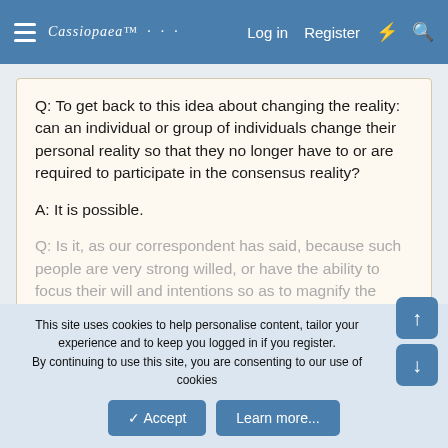Log in  Register
Q: To get back to this idea about changing the reality: can an individual or group of individuals change their personal reality so that they no longer have to or are required to participate in the consensus reality?
A: It is possible.
Q: Is it, as our correspondent has said, because such people are very strong willed, or have the ability to focus their will and intentions so as to magnify the power of the will, to change the reality...
This site uses cookies to help personalise content, tailor your experience and to keep you logged in if you register.
By continuing to use this site, you are consenting to our use of cookies